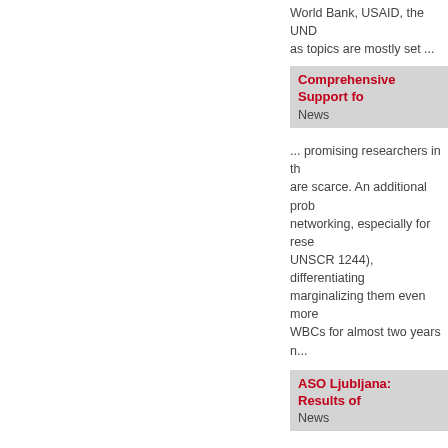World Bank, USAID, the UND... as topics are mostly set ...
Comprehensive Support fo...
News
... promising researchers in th... are scarce. An additional prob... networking, especially for rese... UNSCR 1244), differentiating ... marginalizing them even more... WBCs for almost two years n...
ASO Ljubljana: Results of ...
News
... Research (bmwf) within the... was February 23, 2010. The A... institutions from Austria, Slove... and Serbia will be funded. The... projects will be available soon... Ljubljana (ASO Ljubljana ...
total items: 1130
< Previous Page  1  2